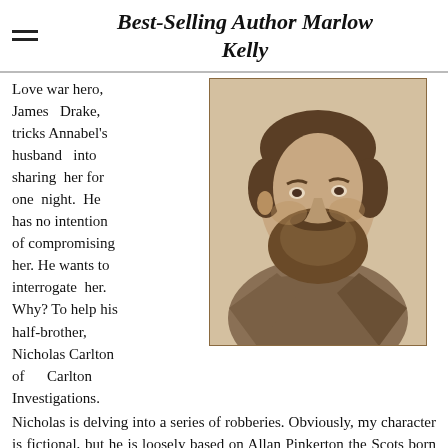Best-Selling Author Marlow Kelly
Love war hero, James Drake, tricks Annabel's husband into sharing her for one night. He has no intention of compromising her. He wants to interrogate her. Why? To help his half-brother, Nicholas Carlton of Carlton Investigations.
[Figure (photo): Sepia-toned vintage portrait photograph of a bearded man in 19th century attire, facing slightly to the right, with a dark cravat and suit jacket.]
Nicholas is delving into a series of robberies. Obviously, my character is fictional, but he is loosely based on Allan Pinkerton the Scots born detective.